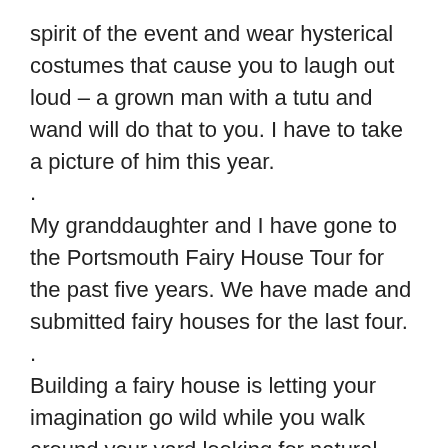spirit of the event and wear hysterical costumes that cause you to laugh out loud – a grown man with a tutu and wand will do that to you. I have to take a picture of him this year.
.
My granddaughter and I have gone to the Portsmouth Fairy House Tour for the past five years. We have made and submitted fairy houses for the last four.
.
Building a fairy house is letting your imagination go wild while you walk around your yard looking for natural materials. You can use a variety of things – branches, bark, pine cones, feathers, flowers, weeds, ornamental grasses, moss, pebbles, acorns – whatever you have. Glue guns are allowed as long as it is hidden by the natural materials.
.